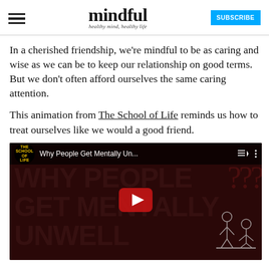mindful — healthy mind, healthy life | SUBSCRIBE
In a cherished friendship, we're mindful to be as caring and wise as we can be to keep our relationship on good terms. But we don't often afford ourselves the same caring attention.
This animation from The School of Life reminds us how to treat ourselves like we would a good friend.
[Figure (screenshot): YouTube video embed showing 'Why People Get Mentally Un...' by The School of Life, with a dark red thumbnail showing large text 'WHY PEOPLE GET MENTALLY UNWELL' and question marks, plus a YouTube play button in the center.]